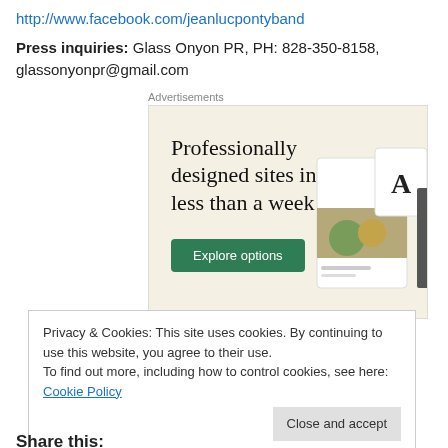http://www.facebook.com/jeanlucpontyband
Press inquiries: Glass Onyon PR, PH: 828-350-8158, glassonyonpr@gmail.com
[Figure (other): Advertisement banner: 'Professionally designed sites in less than a week' with green 'Explore options' button and website mockup images on a beige background.]
Privacy & Cookies: This site uses cookies. By continuing to use this website, you agree to their use. To find out more, including how to control cookies, see here: Cookie Policy
Close and accept
Share this: